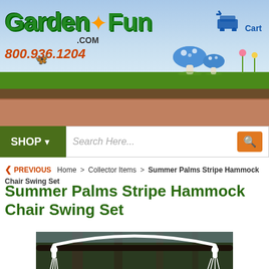[Figure (screenshot): GardenFun.com website header banner with logo, phone number 800.936.1204, sky background, grass, mushrooms, and a shopping cart icon labeled Cart]
[Figure (screenshot): Navigation bar with green SHOP button with dropdown arrow and search box reading Search Here... with orange search button]
< PREVIOUS  Home > Collector Items > Summer Palms Stripe Hammock Chair Swing Set
Summer Palms Stripe Hammock Chair Swing Set
[Figure (photo): Photo of a hammock chair swing set hanging from a metal bar, with white rope/cord visible against a dark forested background]